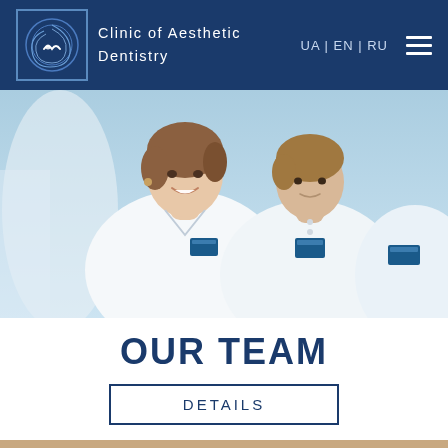Clinic of Aesthetic Dentistry | UA | EN | RU
[Figure (photo): Group photo of dental clinic staff in white uniforms with blue name badges, smiling]
OUR TEAM
DETAILS